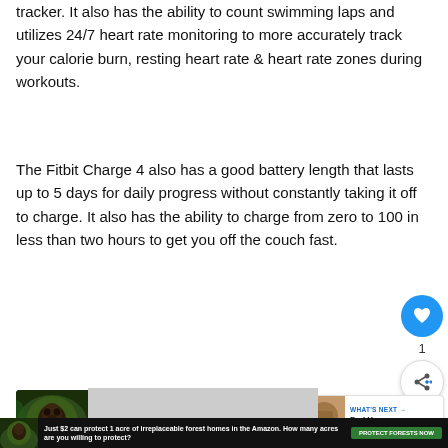tracker. It also has the ability to count swimming laps and utilizes 24/7 heart rate monitoring to more accurately track your calorie burn, resting heart rate & heart rate zones during workouts.
The Fitbit Charge 4 also has a good battery length that lasts up to 5 days for daily progress without constantly taking it off to charge. It also has the ability to charge from zero to 100 in less than two hours to get you off the couch fast.
[Figure (other): Advertisement banner: Just $2 can protect 1 acre of irreplaceable forest homes in the Amazon. How many acres will you protect? Green button: PROTECT FORESTS NOW]
[Figure (other): Floating heart/like button (blue circle with heart icon) with count 1, and share button below]
[Figure (other): What's Next card: WHAT'S NEXT arrow, Do I Have a Good Vertic...]
[Figure (other): Media player area showing: No compatible source was found for this media.]
[Figure (other): Bottom advertisement banner: Just $2 can protect 1 acre of irreplaceable forest homes in the Amazon. How many acres are you willing to protect? PROTECT FORESTS NOW button]